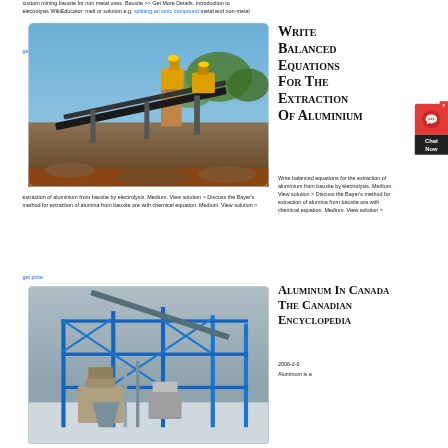custom mining bauxite for non metal uses. Bauxite >> Get More Details. Introduction to electrolysis WikiEducator: melt or solution e.g. splitting an ionic compound metal and non-metal
get price
[Figure (photo): Outdoor mining facility with conveyor belts and industrial crushing equipment against blue sky]
Write Balanced Equations For The Extraction Of Aluminium
Write balanced equations for the extraction of aluminium from bauxite by electrolysis. Medium. View solution > Discuss the Bayer's method for extraction of alumina from bauxite ore with chemical equation. Medium. View solution >
get price
[Figure (photo): Industrial blue steel frame structure and machinery for mineral processing]
Aluminum In Canada The Canadian Encyclopedia
2006-2-6
Aluminum is a